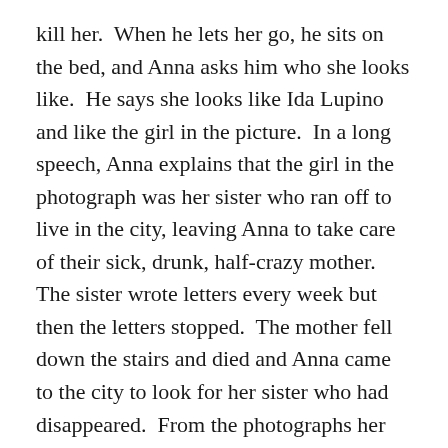kill her.  When he lets her go, he sits on the bed, and Anna asks him who she looks like.  He says she looks like Ida Lupino and like the girl in the picture.  In a long speech, Anna explains that the girl in the photograph was her sister who ran off to live in the city, leaving Anna to take care of their sick, drunk, half-crazy mother.  The sister wrote letters every week but then the letters stopped.  The mother fell down the stairs and died and Anna came to the city to look for her sister who had disappeared.  From the photographs her sister had sent, Anna was able to locate the coffee shop and, one day, Gus.  Then Tony started following her and now she wants to know which one of them killed her sister.  The lights come up on the coffee